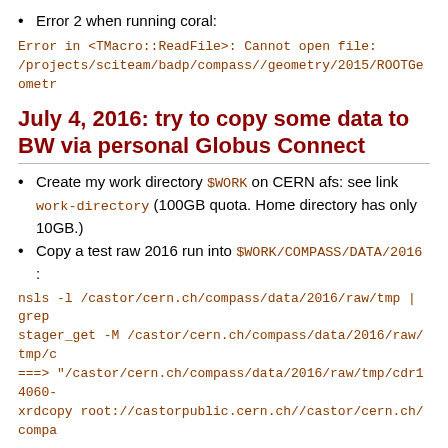Error 2 when running coral:
July 4, 2016: try to copy some data to BW via personal Globus Connect
Create my work directory $WORK on CERN afs: see link work-directory (100GB quota. Home directory has only 10GB.)
Copy a test raw 2016 run into $WORK/COMPASS/DATA/2016 :
This is one chunk of run 271014 (born on the 4th of July).
245 = nsls -l /castor/cern.ch/compass/data/2016/raw/tmp |